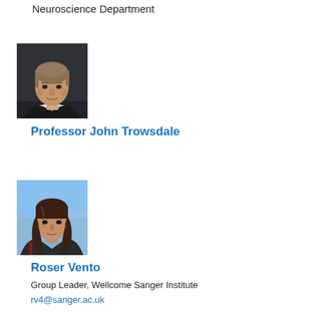Neuroscience Department
[Figure (photo): Professional headshot of Professor John Trowsdale, older man with grey-brown hair, dark jacket, studio background]
Professor John Trowsdale
[Figure (photo): Outdoor photo of Roser Vento, woman with long dark hair, blue sky background]
Roser Vento
Group Leader, Wellcome Sanger Institute
rv4@sanger.ac.uk